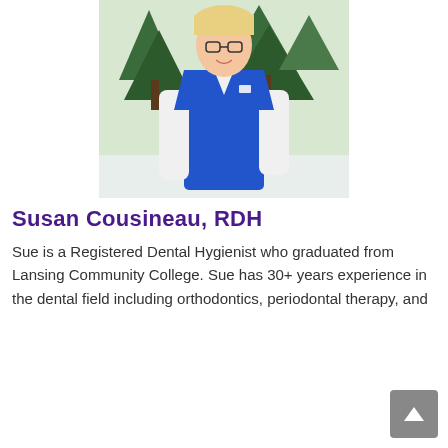[Figure (photo): A woman wearing blue scrubs and a white long-sleeve shirt underneath, smiling at the camera. She has blonde hair and glasses. She is standing outdoors near green pine trees with snow on the ground.]
Susan Cousineau, RDH
Sue is a Registered Dental Hygienist who graduated from Lansing Community College. Sue has 30+ years experience in the dental field including orthodontics, periodontal therapy, and